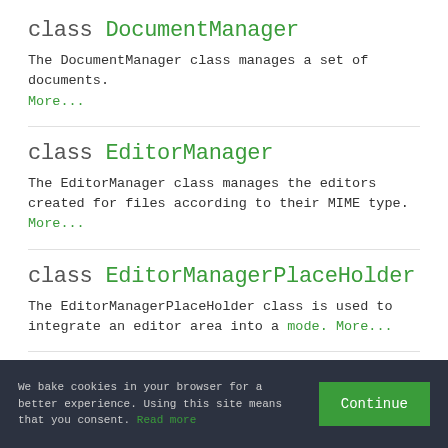class DocumentManager
The DocumentManager class manages a set of documents. More...
class EditorManager
The EditorManager class manages the editors created for files according to their MIME type. More...
class EditorManagerPlaceHolder
The EditorManagerPlaceHolder class is used to integrate an editor area into a mode. More...
class FileChangeBlocker
We bake cookies in your browser for a better experience. Using this site means that you consent. Read more